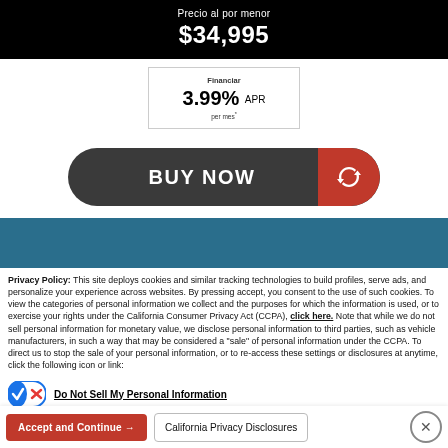Precio al por menor $34,995
Financiar 3.99% APR per mes*
[Figure (other): BUY NOW button with refresh icon on red background, dark rounded button]
[Figure (other): Teal banner strip partially visible at bottom of upper section]
Privacy Policy: This site deploys cookies and similar tracking technologies to build profiles, serve ads, and personalize your experience across websites. By pressing accept, you consent to the use of such cookies. To view the categories of personal information we collect and the purposes for which the information is used, or to exercise your rights under the California Consumer Privacy Act (CCPA), click here. Note that while we do not sell personal information for monetary value, we disclose personal information to third parties, such as vehicle manufacturers, in such a way that may be considered a "sale" of personal information under the CCPA. To direct us to stop the sale of your personal information, or to re-access these settings or disclosures at anytime, click the following icon or link:
Do Not Sell My Personal Information
Language: English   Powered by ComplyAuto
Accept and Continue →  California Privacy Disclosures